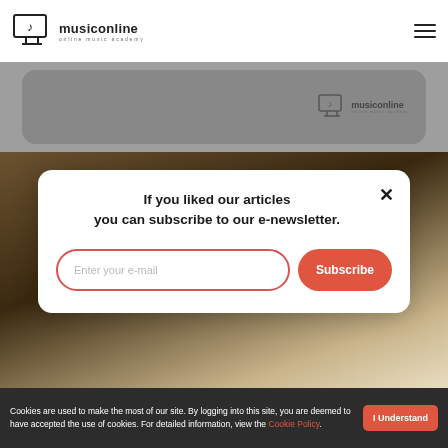[Figure (logo): Musiconline online music academy logo with monitor/music note icon]
[Figure (screenshot): Gray banner area with musiconline logo watermark on dark rounded rectangle]
[Figure (photo): Dark photo of someone reading sheet music, partially obscured by modal]
If you liked our articles you can subscribe to our e-newsletter.
Enter your e-mail
Subscribe
Cookies are used to make the most of our site. By logging into this site, you are deemed to have accepted the use of cookies. For detailed information, view the Cookie Policy.
I Understand